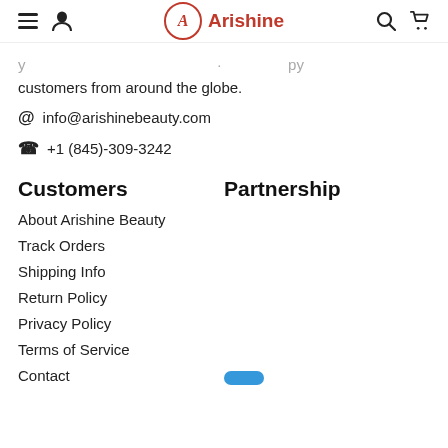Arishine (navigation bar with menu, user, search, cart icons)
customers from around the globe.
@ info@arishinebeauty.com
✆ +1 (845)-309-3242
Customers
Partnership
About Arishine Beauty
Track Orders
Shipping Info
Return Policy
Privacy Policy
Terms of Service
Contact